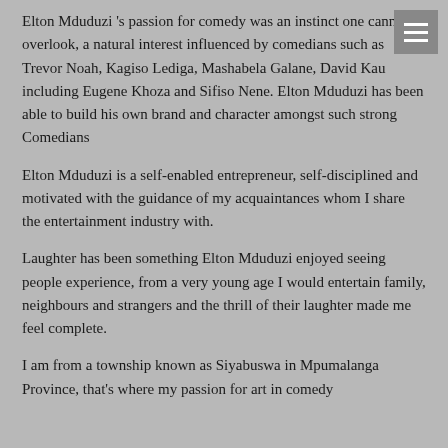Elton Mduduzi 's passion for comedy was an instinct one cannot overlook, a natural interest influenced by comedians such as Trevor Noah, Kagiso Lediga, Mashabela Galane, David Kau including Eugene Khoza and Sifiso Nene. Elton Mduduzi has been able to build his own brand and character amongst such strong Comedians
Elton Mduduzi is a self-enabled entrepreneur, self-disciplined and motivated with the guidance of my acquaintances whom I share the entertainment industry with.
Laughter has been something Elton Mduduzi enjoyed seeing people experience, from a very young age I would entertain family, neighbours and strangers and the thrill of their laughter made me feel complete.
I am from a township known as Siyabuswa in Mpumalanga Province, that's where my passion for art in comedy